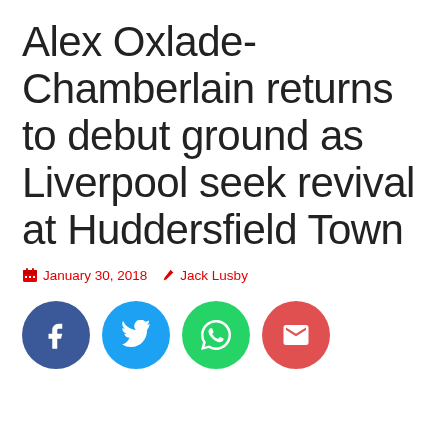Alex Oxlade-Chamberlain returns to debut ground as Liverpool seek revival at Huddersfield Town
January 30, 2018  Jack Lusby
[Figure (infographic): Social share buttons: Facebook (dark blue circle), Twitter (light blue circle), WhatsApp (green circle), Email (red circle)]